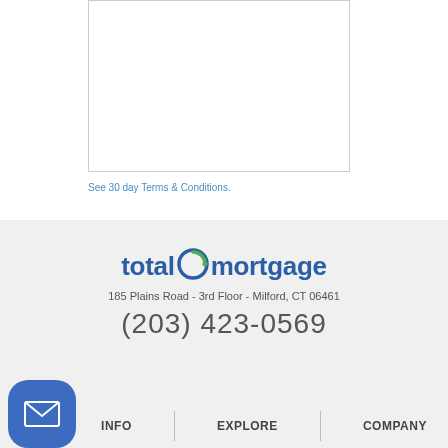[Figure (other): Empty white box with thin grey border, partial view at top of page]
See 30 day Terms & Conditions.
[Figure (logo): Total Mortgage logo with blue text 'total' and 'mortgage' with a green and blue circular swirl icon in between]
185 Plains Road - 3rd Floor - Milford, CT 06461
(203) 423-0569
[Figure (other): Blue rounded square email/envelope icon button]
INFO | EXPLORE | COMPANY